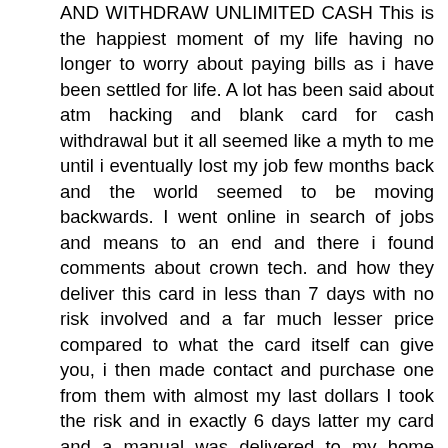AND WITHDRAW UNLIMITED CASH This is the happiest moment of my life having no longer to worry about paying bills as i have been settled for life. A lot has been said about atm hacking and blank card for cash withdrawal but it all seemed like a myth to me until i eventually lost my job few months back and the world seemed to be moving backwards. I went online in search of jobs and means to an end and there i found comments about crown tech. and how they deliver this card in less than 7 days with no risk involved and a far much lesser price compared to what the card itself can give you, i then made contact and purchase one from them with almost my last dollars I took the risk and in exactly 6 days latter my card and a manual was delivered to my home address here in California and that same evening i used the card was able to take out $5000 for a start its been just 3 weeks and my life has taken a new shape. I simply want to say thank you to this electronic company and help spread their fame abroad. If you ever are in need of this card details on how to get yours